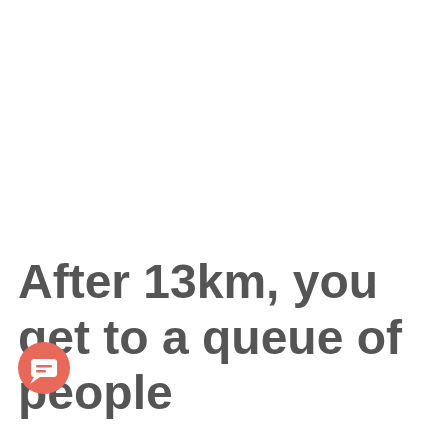After 13km, you get to a queue of people
[Figure (illustration): A coral/salmon-colored circular chat bubble icon with a white speech bubble symbol inside, positioned at the bottom-left overlapping the text.]